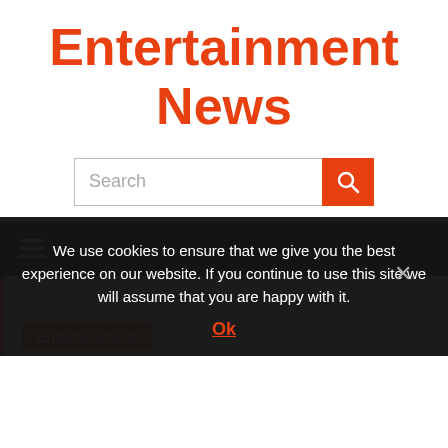Entertainment News
[Figure (screenshot): Search bar with orange search button containing a magnifying glass icon]
[Figure (screenshot): Dark navigation bar with white hamburger menu icon (three horizontal lines)]
Entertainment
We use cookies to ensure that we give you the best experience on our website. If you continue to use this site we will assume that you are happy with it.
Ok